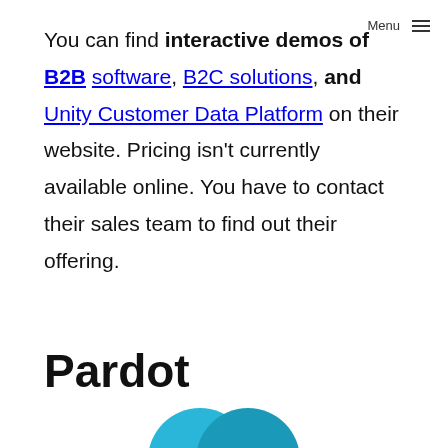Menu
You can find interactive demos of B2B software, B2C solutions, and Unity Customer Data Platform on their website. Pricing isn't currently available online. You have to contact their sales team to find out their offering.
Pardot
[Figure (illustration): Partial view of a teal/blue logo or illustration, cropped at the bottom of the page]